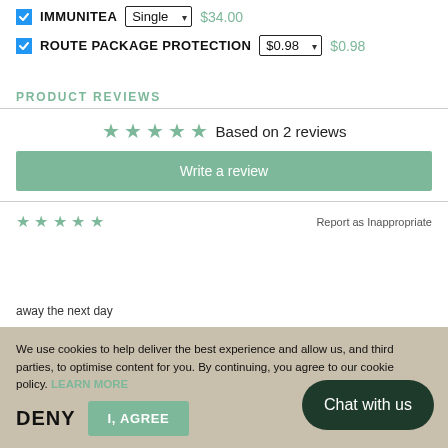IMMUNITEA  Single  $34.00
ROUTE PACKAGE PROTECTION  $0.98  $0.98
PRODUCT REVIEWS
★★★★★ Based on 2 reviews
Write a review
★★★★★  Report as Inappropriate
We use cookies to help deliver the best experience and allow us, and third parties, to optimise content for you. By continuing, you agree to our cookie policy. LEARN MORE
DENY  I, AGREE  Chat with us